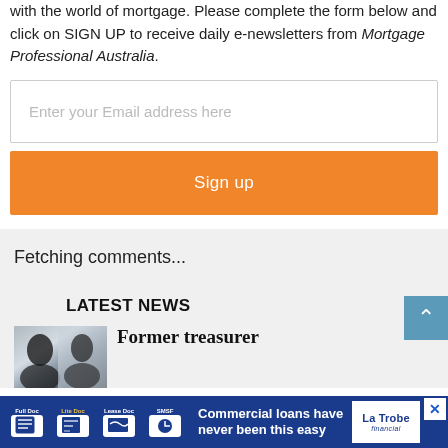with the world of mortgage. Please complete the form below and click on SIGN UP to receive daily e-newsletters from Mortgage Professional Australia.
[Figure (screenshot): Email input field with placeholder text 'Enter your Email address here']
[Figure (screenshot): Orange 'Sign up' button]
Fetching comments...
LATEST NEWS
[Figure (photo): Dark silhouette of a person against a light background]
Former treasurer
[Figure (screenshot): Advertisement banner: 'Commercial loans have never been this easy' by La Trobe Financial, with icons for Full Doc, Lite Doc, Lease Doc, SMSF products]